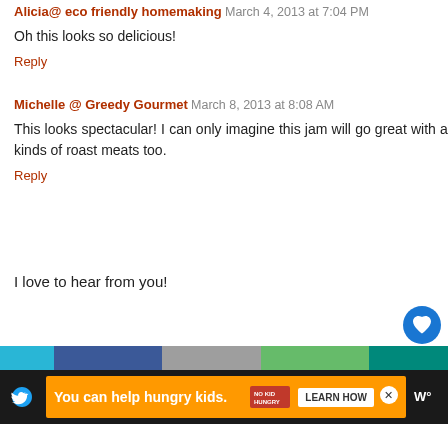Alicia@ eco friendly homemaking March 4, 2013 at 7:04 PM
Oh this looks so delicious!
Reply
Michelle @ Greedy Gourmet March 8, 2013 at 8:08 AM
This looks spectacular! I can only imagine this jam will go great with all kinds of roast meats too.
Reply
I love to hear from you!
[Figure (screenshot): Bottom social sharing bar and advertisement banner reading 'You can help hungry kids.' with No Kid Hungry logo and Learn How button]